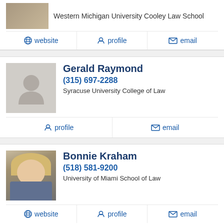Western Michigan University Cooley Law School
website | profile | email
Gerald Raymond
(315) 697-2288
Syracuse University College of Law
profile | email
Bonnie Kraham
(518) 581-9200
University of Miami School of Law
website | profile | email